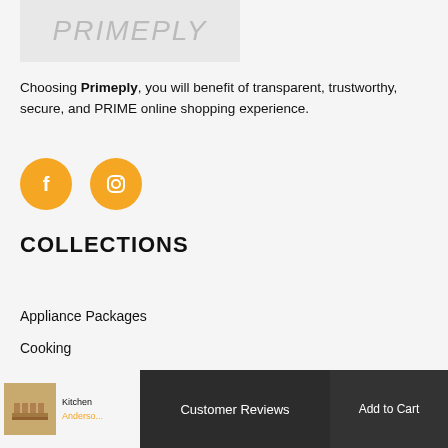[Figure (logo): Primeply logo placeholder image with light gray background]
Choosing Primeply, you will benefit of transparent, trustworthy, secure, and PRIME online shopping experience.
[Figure (illustration): Two orange circular social media icons: Facebook (f) and Instagram (camera/circle)]
COLLECTIONS
Appliance Packages
Cooking
[Figure (screenshot): Bottom navigation bar with product thumbnail, Customer Reviews button (dark), and Add to Cart button (dark)]